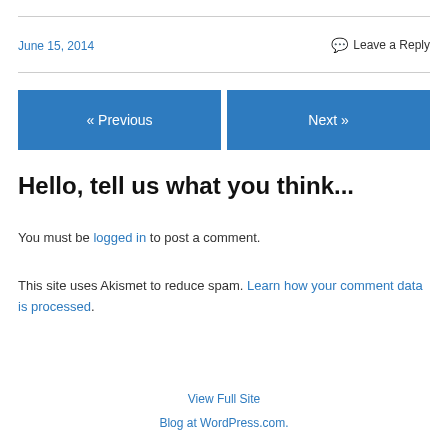June 15, 2014
Leave a Reply
« Previous
Next »
Hello, tell us what you think...
You must be logged in to post a comment.
This site uses Akismet to reduce spam. Learn how your comment data is processed.
View Full Site
Blog at WordPress.com.